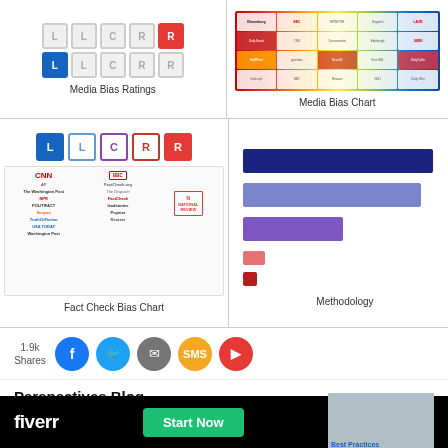[Figure (infographic): Media Bias Ratings icon grid showing L, L, C, R, R letter boxes in two rows, first row with colored boxes and second row with grayed-out boxes]
Media Bias Ratings
[Figure (infographic): Media Bias Chart showing logos of various news outlets arranged by political bias from left to right]
Media Bias Chart
[Figure (infographic): Fact Check Bias Chart showing news outlet logos arranged by political leaning with L, L, C, R, R icons at top; includes CNN, AP, BBC, National Review logos]
Fact Check Bias Chart
[Figure (bar-chart): Horizontal bar chart with 5 bars in dark blue, medium blue, purple, pink, and dark red colors of varying lengths]
Methodology
1.9k Shares
Perspectives Blog
[Figure (infographic): Fiverr advertisement banner with fiverr logo and Start Now button, with blog preview image on right showing 'Best Practices' text]